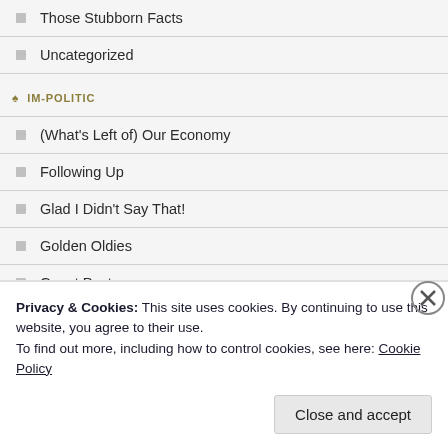Those Stubborn Facts
Uncategorized
IM-POLITIC
(What's Left of) Our Economy
Following Up
Glad I Didn't Say That!
Golden Oldies
Guest Posts
Housekeeping
Housekeeping
Privacy & Cookies: This site uses cookies. By continuing to use this website, you agree to their use.
To find out more, including how to control cookies, see here: Cookie Policy
Close and accept